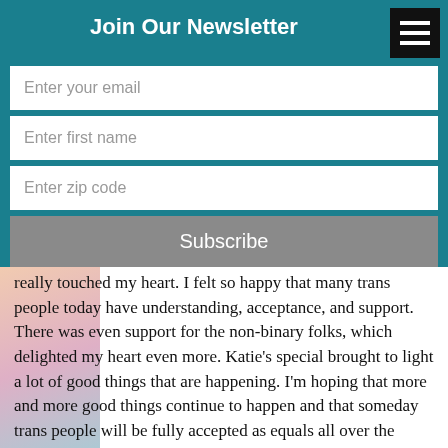Join Our Newsletter
Enter your email
Enter first name
Enter zip code
Subscribe
really touched my heart. I felt so happy that many trans people today have understanding, acceptance, and support. There was even support for the non-binary folks, which delighted my heart even more. Katie’s special brought to light a lot of good things that are happening. I’m hoping that more and more good things continue to happen and that someday trans people will be fully accepted as equals all over the world, hopefully within my lifetime. We’ll see.